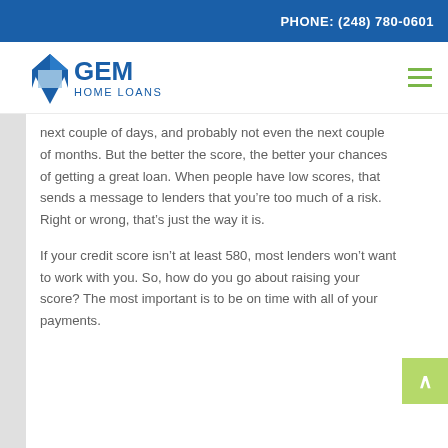PHONE: (248) 780-0601
[Figure (logo): GEM Home Loans logo — blue diamond gem shape with 'GEM' in bold blue text and 'HOME LOANS' in smaller blue text below]
next couple of days, and probably not even the next couple of months. But the better the score, the better your chances of getting a great loan. When people have low scores, that sends a message to lenders that you're too much of a risk. Right or wrong, that's just the way it is.
If your credit score isn't at least 580, most lenders won't want to work with you. So, how do you go about raising your score? The most important is to be on time with all of your payments.